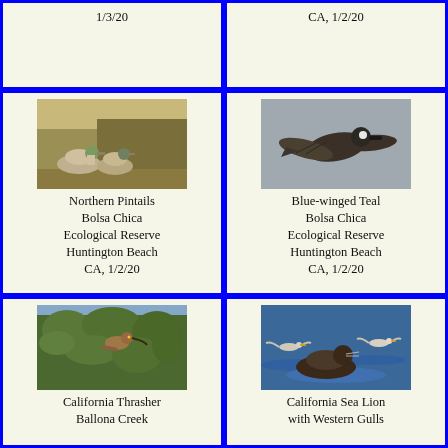1/3/20
CA, 1/2/20
[Figure (photo): Northern Pintails birds on ground near vegetation]
Northern Pintails Bolsa Chica Ecological Reserve Huntington Beach CA, 1/2/20
[Figure (photo): Blue-winged Teal bird in flight]
Blue-winged Teal Bolsa Chica Ecological Reserve Huntington Beach CA, 1/2/20
[Figure (photo): California Thrasher perched in bush/tree]
California Thrasher Ballona Creek
[Figure (photo): California Sea Lion with Western Gulls on water]
California Sea Lion with Western Gulls